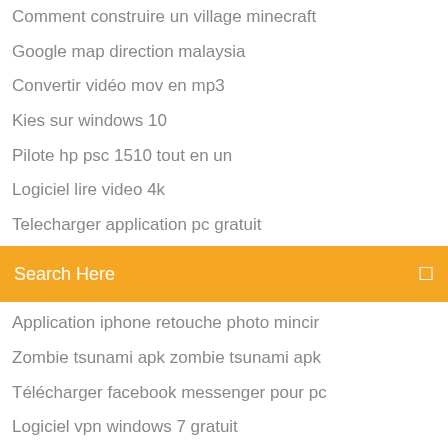Comment construire un village minecraft
Google map direction malaysia
Convertir vidéo mov en mp3
Kies sur windows 10
Pilote hp psc 1510 tout en un
Logiciel lire video 4k
Telecharger application pc gratuit
[Figure (screenshot): Orange search bar with text 'Search Here' and a search icon on the right]
Application iphone retouche photo mincir
Zombie tsunami apk zombie tsunami apk
Télécharger facebook messenger pour pc
Logiciel vpn windows 7 gratuit
Sonicwall global vpn client windows 10
Clash of clans telecharger pc
Télécharger pdf writer français gratuit
Adobe audition cs6 gratuit télécharger complete version for windows 10
Comment supprimer un compte snapchat sur ordinateur